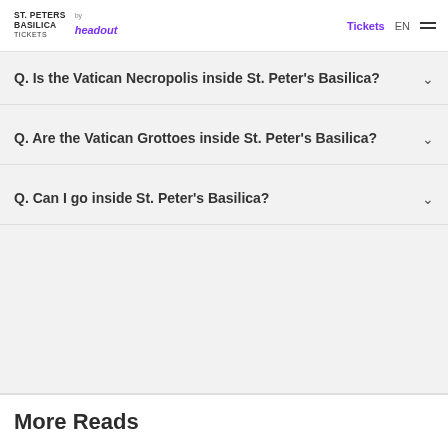ST. PETERS BASILICA TICKETS by headout | Tickets EN
Q. Is the Vatican Necropolis inside St. Peter's Basilica?
Q. Are the Vatican Grottoes inside St. Peter's Basilica?
Q. Can I go inside St. Peter's Basilica?
More Reads